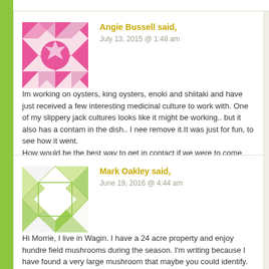Angie Bussell said,
July 13, 2015 @ 1:48 am
Im working on oysters, king oysters, enoki and shiitaki and have just received a few interesting medicinal culture to work with. One of my slippery jack cultures looks like it might be working.. but it also has a contam in the dish.. I need to remove it.It was just for fun, to see how it went.
How would be the best way to get in contact if we were to come over to pemby for a forage?
Loading...
Reply
Mark Oakley said,
June 19, 2016 @ 4:44 am
Hi Morrie, I live in Wagin. I have a 24 acre property and enjoy hundreds of field mushrooms during the season. I'm writing because I have found a very large mushroom that maybe you could identify. These mushrooms are the size of a dinner plate, smell like field mushrooms and were found growing under wandoo trees. I would like to email to you a series of pictures if possible to help with identification. I hope you can help. Cheers, Mark.